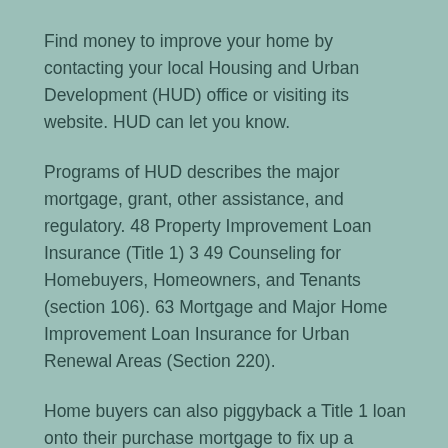Find money to improve your home by contacting your local Housing and Urban Development (HUD) office or visiting its website. HUD can let you know.
Programs of HUD describes the major mortgage, grant, other assistance, and regulatory. 48 Property Improvement Loan Insurance (Title 1) 3 49 Counseling for Homebuyers, Homeowners, and Tenants (section 106). 63 Mortgage and Major Home Improvement Loan Insurance for Urban Renewal Areas (Section 220).
Home buyers can also piggyback a Title 1 loan onto their purchase mortgage to fix up a property Neither HUD nor the fha offers loans; instead, they insure private lenders against losses from loan defaults. A HUD/FHA Title 1 home improvement loan is one good solution.